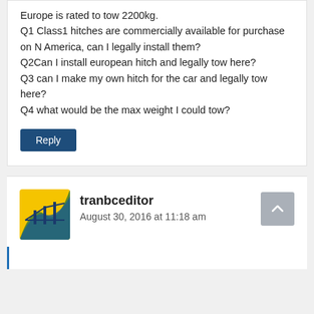Europe is rated to tow 2200kg.
Q1 Class1 hitches are commercially available for purchase on N America, can I legally install them?
Q2Can I install european hitch and legally tow here?
Q3 can I make my own hitch for the car and legally tow here?
Q4 what would be the max weight I could tow?
Reply
tranbceditor
August 30, 2016 at 11:18 am